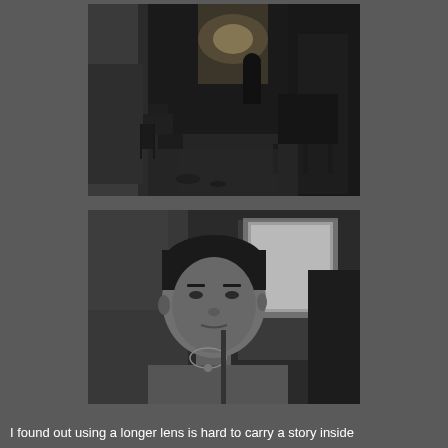[Figure (photo): Black and white photograph of a narrow alley or corridor at night, with a silhouetted figure sitting at a table in the background, clutter and equipment on either side]
[Figure (photo): Black and white portrait photograph of a young Asian man looking at the camera, wearing a striped t-shirt and necklace, with blurred background lights]
I found out using a longer lens is hard to carry a story inside